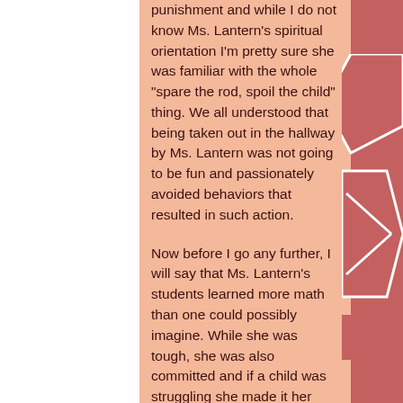punishment and while I do not know Ms. Lantern's spiritual orientation I'm pretty sure she was familiar with the whole "spare the rod, spoil the child" thing. We all understood that being taken out in the hallway by Ms. Lantern was not going to be fun and passionately avoided behaviors that resulted in such action.

Now before I go any further, I will say that Ms. Lantern's students learned more math than one could possibly imagine. While she was tough, she was also committed and if a child was struggling she made it her business, no obsession, to teach that child math. And we were all the better for her dedication to both math and discipline.